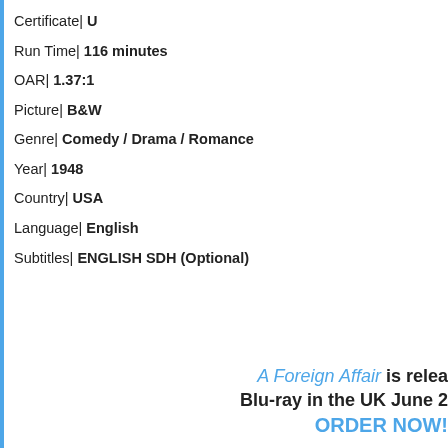Certificate| U
Run Time| 116 minutes
OAR| 1.37:1
Picture| B&W
Genre| Comedy / Drama / Romance
Year| 1948
Country| USA
Language| English
Subtitles| ENGLISH SDH (Optional)
A Foreign Affair is released on Blu-ray in the UK June 2... ORDER NOW!